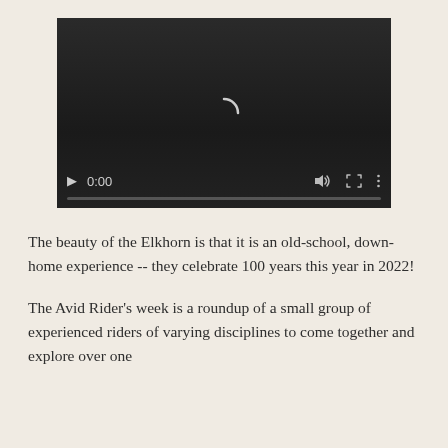[Figure (screenshot): Embedded video player with dark background, loading spinner arc, playback controls showing 0:00 timestamp, volume icon, fullscreen icon, and more options icon, with a grey progress bar at the bottom.]
The beauty of the Elkhorn is that it is an old-school, down-home experience -- they celebrate 100 years this year in 2022!
The Avid Rider's week is a roundup of a small group of experienced riders of varying disciplines to come together and explore over one